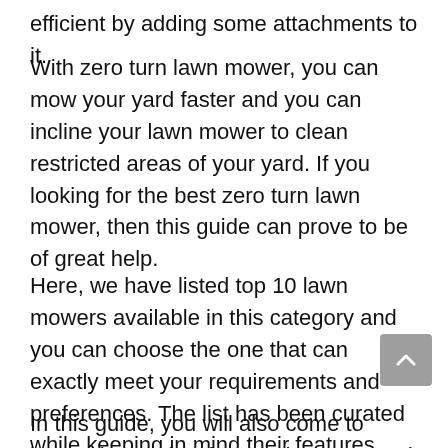efficient by adding some attachments to it.
With zero turn lawn mower, you can mow your yard faster and you can incline your lawn mower to clean restricted areas of your yard. If you looking for the best zero turn lawn mower, then this guide can prove to be of great help.
Here, we have listed top 10 lawn mowers available in this category and you can choose the one that can exactly meet your requirements and preferences. The list has been curated while keeping in mind their features, and pros and cons.
In this guide, you will also come to know about a few factors that you need to consider while making